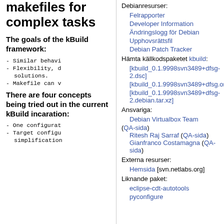makefiles for complex tasks
The goals of the kBuild framework:
- Similar behavi
- Flexibility, d solutions.
- Makefile can v
There are four concepts being tried out in the current kBuild incaration:
- One configurat
- Target configu
simplification
Debianresurser:
Felrapporter
Developer Information
Ändringslogg för Debian
Upphovsrättsfil
Debian Patch Tracker
Hämta källkodspaketet kbuild:
[kbuild_0.1.9998svn3489+dfsg-2.dsc]
[kbuild_0.1.9998svn3489+dfsg.orig.tar.gz]
[kbuild_0.1.9998svn3489+dfsg-2.debian.tar.xz]
Ansvariga:
Debian Virtualbox Team (QA-sida)
Ritesh Raj Sarraf (QA-sida)
Gianfranco Costamagna (QA-sida)
Externa resurser:
Hemsida [svn.netlabs.org]
Liknande paket:
eclipse-cdt-autotools
pyconfigure